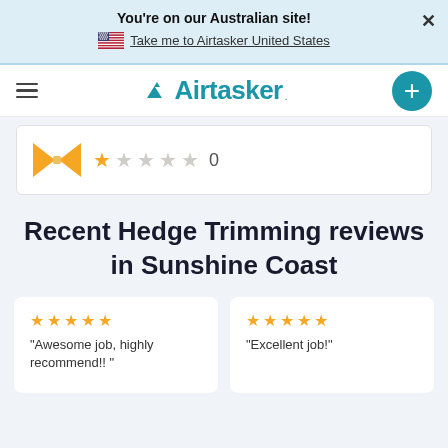You're on our Australian site!
Take me to Airtasker United States
[Figure (logo): Airtasker logo with hamburger menu and plus button]
[Figure (illustration): Partial profile card with bow-tie icon and star rating showing 0 reviews]
Recent Hedge Trimming reviews in Sunshine Coast
"Awesome job, highly recommend!! "
"Excellent job!"